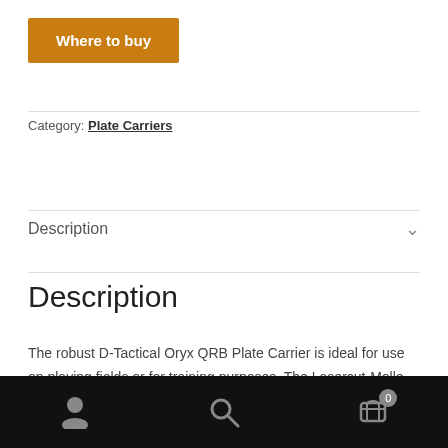Where to buy
Category: Plate Carriers
Description
Description
The robust D-Tactical Oryx QRB Plate Carrier is ideal for use on playing fields or for training purposes. The Lasercut-Molle system on the front and back allows you to